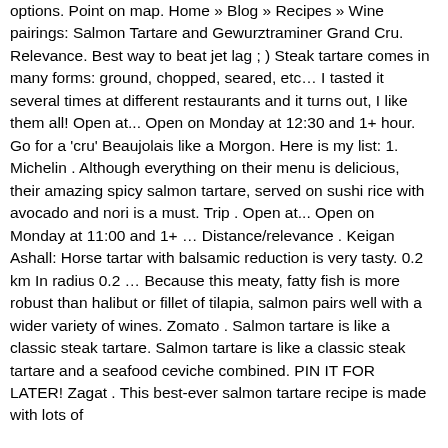options. Point on map. Home » Blog » Recipes » Wine pairings: Salmon Tartare and Gewurztraminer Grand Cru. Relevance. Best way to beat jet lag ; ) Steak tartare comes in many forms: ground, chopped, seared, etc… I tasted it several times at different restaurants and it turns out, I like them all! Open at... Open on Monday at 12:30 and 1+ hour. Go for a 'cru' Beaujolais like a Morgon. Here is my list: 1. Michelin . Although everything on their menu is delicious, their amazing spicy salmon tartare, served on sushi rice with avocado and nori is a must. Trip . Open at... Open on Monday at 11:00 and 1+ … Distance/relevance . Keigan Ashall: Horse tartar with balsamic reduction is very tasty. 0.2 km In radius 0.2 … Because this meaty, fatty fish is more robust than halibut or fillet of tilapia, salmon pairs well with a wider variety of wines. Zomato . Salmon tartare is like a classic steak tartare. Salmon tartare is like a classic steak tartare and a seafood ceviche combined. PIN IT FOR LATER! Zagat . This best-ever salmon tartare recipe is made with lots of